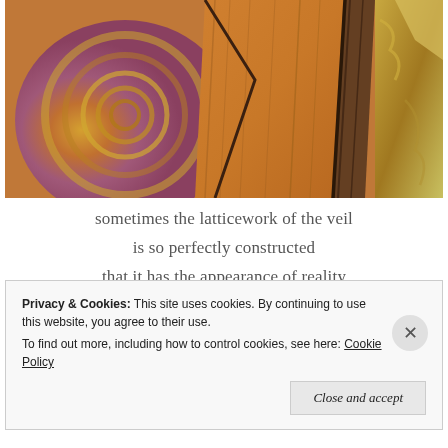[Figure (illustration): Abstract textured artwork with warm earth tones — oranges, browns, yellows, and purplish reds. Features a large spiral/snail shell form on the left, geometric angular shapes in the center and right, and brushstroke textures throughout. Mixed media appearance.]
sometimes the latticework of the veil
is so perfectly constructed
that it has the appearance of reality
flesh and blood, rather than
Privacy & Cookies: This site uses cookies. By continuing to use this website, you agree to their use.
To find out more, including how to control cookies, see here: Cookie Policy